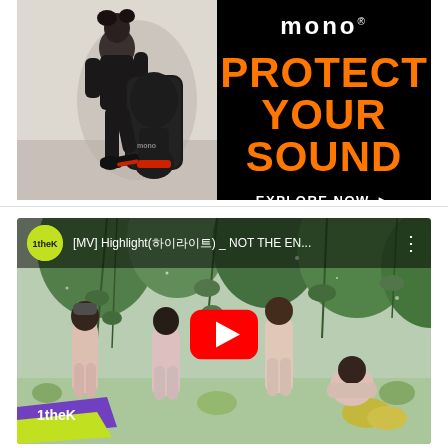[Figure (photo): Advertisement banner for MONO brand. Left half shows a person in black outfit carrying a mono guitar case, walking. Right half is black background with white 'mono' logo, orange bold text 'PROTECT YOUR SOUND', and white 'EXPLORE NOW ►' call to action button.]
[Figure (screenshot): YouTube video embed showing '[MV] Highlight(하이라이트) _ NOT THE EN...' from 1theK channel. Thumbnail shows a group of people in a lush green garden setting with a large red YouTube play button overlay. A 1theK branded banner is visible in the bottom-left corner.]